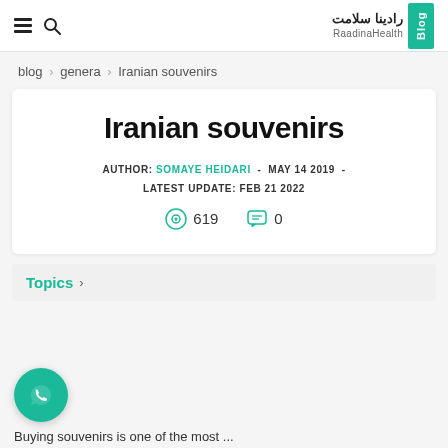رادینا سلامت | RaadinaHealth Blog
blog > genera > Iranian souvenirs
Iranian souvenirs
AUTHOR: SOMAYE HEIDARI - MAY 14 2019 - LATEST UPDATE: FEB 21 2022
619 views, 0 comments
Topics >